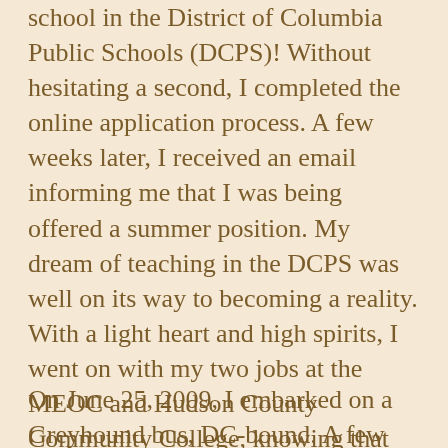school in the District of Columbia Public Schools (DCPS)! Without hesitating a second, I completed the online application process. A few weeks later, I received an email informing me that I was being offered a summer position. My dream of teaching in the DCPS was well on its way to becoming a reality. With a light heart and high spirits, I went on with my two jobs at the MEOC and Hudson County Community College, knowing that come June, my life would change for the better.
On June 25, 2009, I embarked on a Greyhound bus, DC-bound. A few